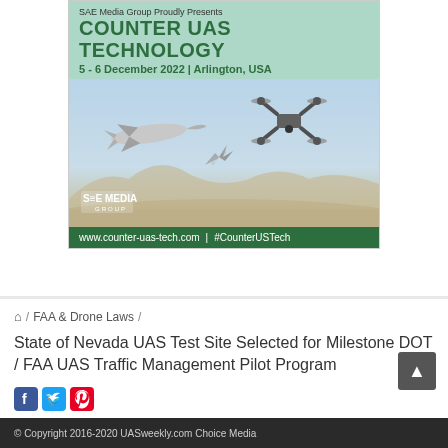[Figure (illustration): SAE Media Group advertisement for Counter UAS Technology conference, 5-6 December 2022, Arlington USA. Shows missile intercepting a drone with SAE Media Group logo and website www.counter-uas-tech.com | #CounterUSTech]
/ FAA & Drone Laws /
State of Nevada UAS Test Site Selected for Milestone DOT / FAA UAS Traffic Management Pilot Program
[Figure (illustration): Social media icons: Facebook, Twitter, Pinterest]
© Copyright 2016-2020 UASweekly.com Choice Media